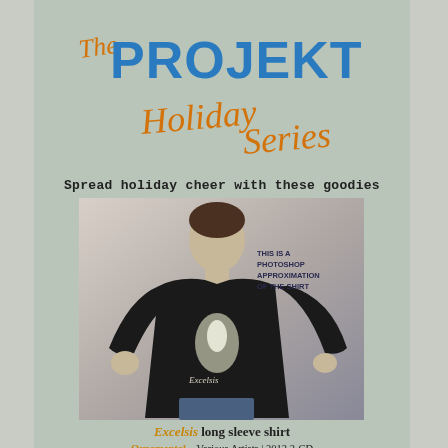[Figure (logo): The Projekt Holiday Series logo with 'PROJEKT' in blue block letters and 'Holiday Series' in orange script handwriting]
Spread holiday cheer with these goodies
[Figure (photo): Young man wearing a black long sleeve shirt with 'Excelsis' text and artwork on it. Text overlay reads 'THIS IS A PHOTOSHOP APPROXIMATION OF THE SHIRT']
Excelsis long sleeve shirt
Ornamental ~ Various Artists | 2012 2-CD
Silver Smoke, Star of Night (In the Shadow of Christmas) ~ Jill Tracy | 2012
Excelsis (unknown) | 1990s ~ various artists